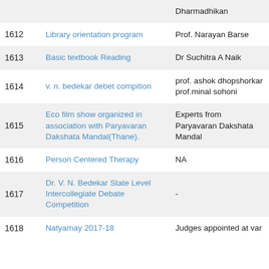| # | Activity | Resource Person |
| --- | --- | --- |
|  | Dharmadhikan |  |
| 1612 | Library orientation program | Prof. Narayan Barse |
| 1613 | Basic textbook Reading | Dr Suchitra A Naik |
| 1614 | v. n. bedekar debet compition | prof. ashok dhopshorkar prof.minal sohoni |
| 1615 | Eco film show organized in association with Paryavaran Dakshata Mandal(Thane). | Experts from Paryavaran Dakshata Mandal |
| 1616 | Person Centered Therapy | NA |
| 1617 | Dr. V. N. Bedekar State Level Intercollegiate Debate Competition | - |
| 1618 | Natyamay 2017-18 | Judges appointed at var... |